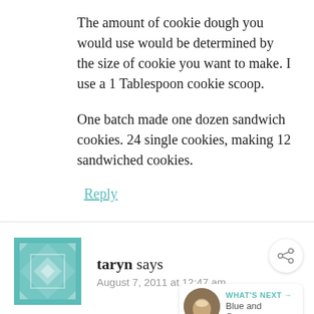The amount of cookie dough you would use would be determined by the size of cookie you want to make. I use a 1 Tablespoon cookie scoop.
One batch made one dozen sandwich cookies. 24 single cookies, making 12 sandwiched cookies.
Reply
taryn says
August 7, 2011 at 12:47 am
I wish the "slightly flatten each mound"